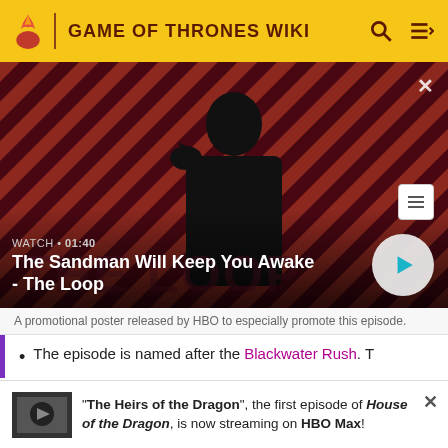GAME OF THRONES WIKI
[Figure (screenshot): Promotional video thumbnail for 'The Sandman Will Keep You Awake - The Loop' with a person in black against a red and dark striped background. Shows WATCH • 01:40 label and a play button.]
A promotional poster released by HBO to especially promote this episode.
The episode is named after the Blackwater Rush. T
"The Heirs of the Dragon", the first episode of House of the Dragon, is now streaming on HBO Max!